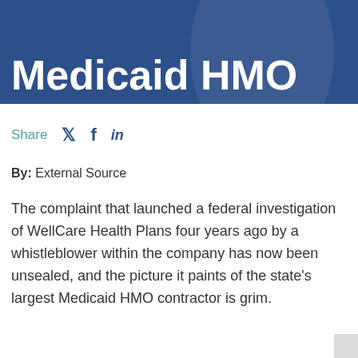Medicaid HMO
Share
By: External Source
The complaint that launched a federal investigation of WellCare Health Plans four years ago by a whistleblower within the company has now been unsealed, and the picture it paints of the state's largest Medicaid HMO contractor is grim.